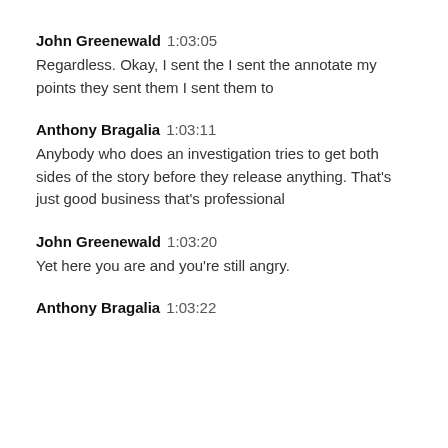John Greenewald  1:03:05
Regardless. Okay, I sent the I sent the annotate my points they sent them I sent them to
Anthony Bragalia  1:03:11
Anybody who does an investigation tries to get both sides of the story before they release anything. That’s just good business that’s professional
John Greenewald  1:03:20
Yet here you are and you’re still angry.
Anthony Bragalia  1:03:22